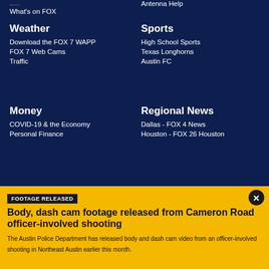What's on FOX
Antenna Help
Weather
Download the FOX 7 WAPP
FOX 7 Web Cams
Traffic
Sports
High School Sports
Texas Longhorns
Austin FC
Money
COVID-19 & the Economy
Personal Finance
Regional News
Dallas - FOX 4 News
Houston - FOX 26 Houston
FOOTAGE RELEASED
Body, dash cam footage released from Cameron Road officer-involved shooting
The Austin Police Department has released body and dash cam video from an officer-involved shooting in Northeast Austin earlier this month.